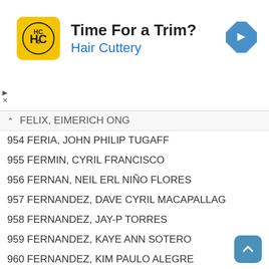[Figure (logo): Hair Cuttery advertisement banner with logo, 'Time For a Trim?' heading, and navigation icon]
FELIX, EIMERICH ONG
954 FERIA, JOHN PHILIP TUGAFF
955 FERMIN, CYRIL FRANCISCO
956 FERNAN, NEIL ERL NIÑO FLORES
957 FERNANDEZ, DAVE CYRIL MACAPALLAG
958 FERNANDEZ, JAY-P TORRES
959 FERNANDEZ, KAYE ANN SOTERO
960 FERNANDEZ, KIM PAULO ALEGRE
961 FERNANDEZ, MARVIN VISPERAS
962 FERNANDEZ, RAYMUND PETER MORENO
963 FERRATER, MARK ESTRADA
964 FERRER, CHARIE TESS SAGUN
965 FERRER, ERILIZ NICOLEI CALIVO
966 FERRER, JESUS ROLANDO MENDOZA
967 FERRER, JOSEF CYRIL SALVA
968 FERRER, LEMUEL FARALA